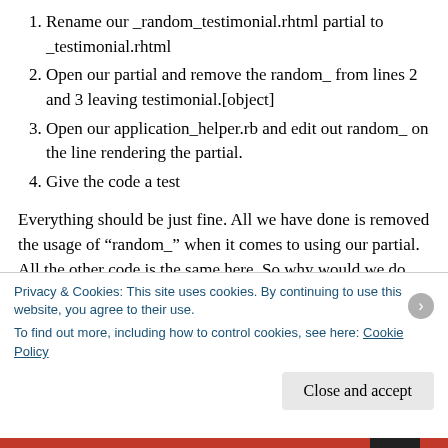1. Rename our _random_testimonial.rhtml partial to _testimonial.rhtml
2. Open our partial and remove the random_ from lines 2 and 3 leaving testimonial.[object]
3. Open our application_helper.rb and edit out random_ on the line rendering the partial.
4. Give the code a test
Everything should be just fine. All we have done is removed the usage of “random_” when it comes to using our partial. All the other code is the same here. So why would we do such a thing? Well...
what if we had a page that we wanted to show all of
Privacy & Cookies: This site uses cookies. By continuing to use this website, you agree to their use. To find out more, including how to control cookies, see here: Cookie Policy
Close and accept